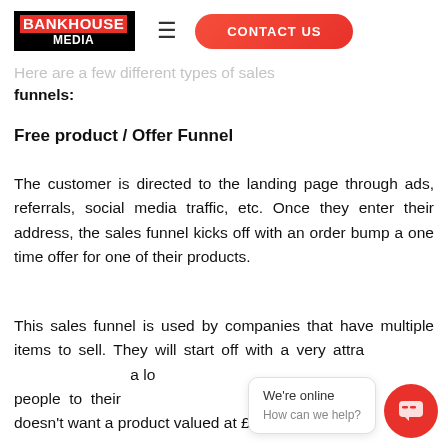BANKHOUSE MEDIA | CONTACT US
Here are a few different types of sales funnels:
Free product / Offer Funnel
The customer is directed to the landing page through ads, referrals, social media traffic, etc. Once they enter their address, the sales funnel kicks off with an order bump a one time offer for one of their products.
This sales funnel is used by companies that have multiple items to sell. They will start off with a very attractive offer at a low price to get people to their store... doesn't want a product valued at £XX for free?